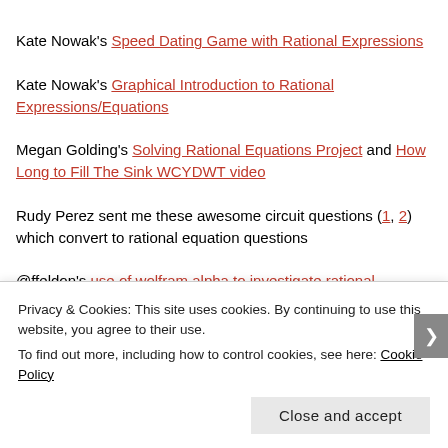Kate Nowak's Speed Dating Game with Rational Expressions
Kate Nowak's Graphical Introduction to Rational Expressions/Equations
Megan Golding's Solving Rational Equations Project and How Long to Fill The Sink WCYDWT video
Rudy Perez sent me these awesome circuit questions (1, 2) which convert to rational equation questions
@ffeldon's use of wolfram alpha to investigate rational equations (solns here)
Privacy & Cookies: This site uses cookies. By continuing to use this website, you agree to their use. To find out more, including how to control cookies, see here: Cookie Policy